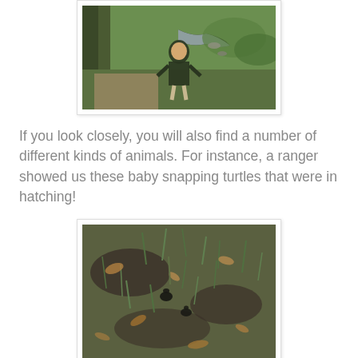[Figure (photo): A young boy in a dark green polo shirt smiling outdoors near a creek with green grass and trees in the background]
If you look closely, you will also find a number of different kinds of animals. For instance, a ranger showed us these baby snapping turtles that were in hatching!
[Figure (photo): Close-up ground-level photo showing baby snapping turtles hatching in grass and dirt with dead leaves scattered around]